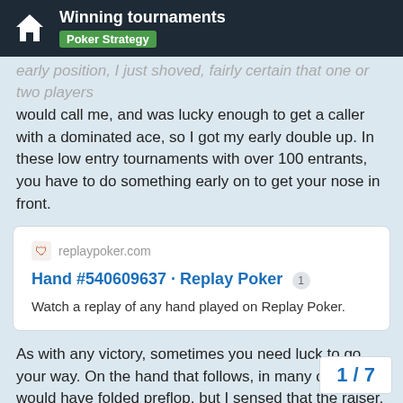Winning tournaments
Poker Strategy
early position, I just shoved, fairly certain that one or two players would call me, and was lucky enough to get a caller with a dominated ace, so I got my early double up. In these low entry tournaments with over 100 entrants, you have to do something early on to get your nose in front.
[Figure (screenshot): Link card for replaypoker.com showing Hand #540609637 · Replay Poker with description: Watch a replay of any hand played on Replay Poker.]
As with any victory, sometimes you need luck to go your way. On the hand that follows, in many cases I would have folded preflop, but I sensed that the raiser, based on his earlier play, was not really looking for a call.
In this hand, I had observed that the playe
1 / 7